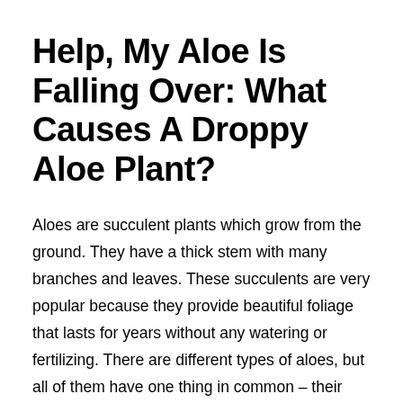Help, My Aloe Is Falling Over: What Causes A Droppy Aloe Plant?
Aloes are succulent plants which grow from the ground. They have a thick stem with many branches and leaves. These succulents are very popular because they provide beautiful foliage that lasts for years without any watering or fertilizing. There are different types of aloes, but all of them have one thing in common – their leaves turn brown when they get old and dry out. Some aloes may even fall over if left alone!